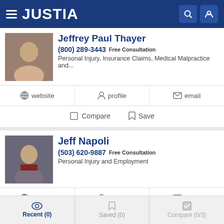JUSTIA
Jeffrey Paul Thayer
(800) 289-3443 Free Consultation
Personal Injury, Insurance Claims, Medical Malpractice and...
website | profile | email
Compare | Save
Jeff Napoli
(503) 620-9887 Free Consultation
Personal Injury and Employment
website | profile | email
Compare | Save
Recent (0) | Saved (0) | Compare (0/3)